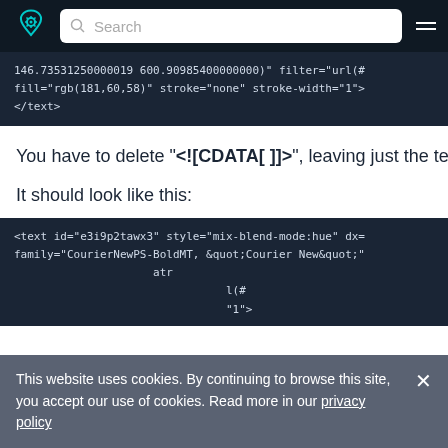Search
146.73531250000019 600.90985400000000)" filter="url(# fill="rgb(181,60,58)" stroke="none" stroke-width="1"> </text>
You have to delete "<![CDATA[ ]]>", leaving just the text pa
It should look like this:
<text id="e3i9p2tawx3" style="mix-blend-mode:hue" dx= family="CourierNewPS-BoldMT, &quot;Courier New&quot;"
This website uses cookies. By continuing to browse this site, you accept our use of cookies. Read more in our privacy policy